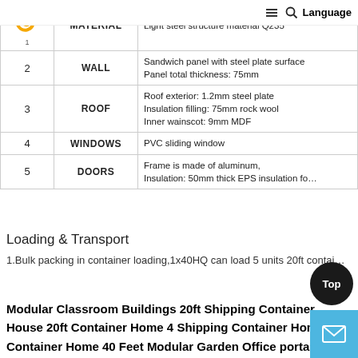| # | CATEGORY | DESCRIPTION |
| --- | --- | --- |
| 1 | MATERIAL | Light steel structure material Q235 |
| 2 | WALL | Sandwich panel with steel plate surface
Panel total thickness: 75mm |
| 3 | ROOF | Roof exterior: 1.2mm steel plate
Insulation filling: 75mm rock wool
Inner wainscot: 9mm MDF |
| 4 | WINDOWS | PVC sliding window |
| 5 | DOORS | Frame is made of aluminum,
Insulation: 50mm thick EPS insulation fo… |
Loading & Transport
1.Bulk packing in container loading,1x40HQ can load 5 units 20ft contai…
Modular Classroom Buildings 20ft Shipping Container House 20ft Container Home 4 Shipping Container Home Container Home 40 Feet Modular Garden Office portable ti…